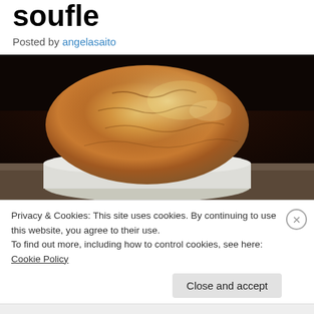soufle
Posted by angelasaito
[Figure (photo): Close-up photograph of a golden-brown baked soufflé rising above a white ramekin dish, on a dark background]
Privacy & Cookies: This site uses cookies. By continuing to use this website, you agree to their use.
To find out more, including how to control cookies, see here: Cookie Policy
Close and accept